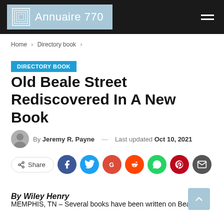Annuaire 770
Home > Directory book >
DIRECTORY BOOK
Old Beale Street Rediscovered In A New Book
By Jeremy R. Payne — Last updated Oct 10, 2021
Share
By Wiley Henry
MEMPHIS, TN – Several books have been written on Beale